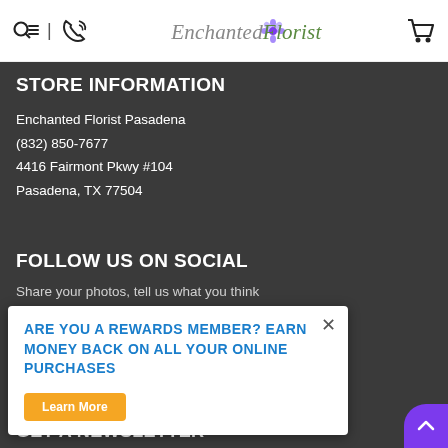Enchanted Florist [logo with shopping cart]
STORE INFORMATION
Enchanted Florist Pasadena
(832) 850-7677
4416 Fairmont Pkwy #104
Pasadena, TX 77504
FOLLOW US ON SOCIAL
Share your photos, tell us what you think
ARE YOU A REWARDS MEMBER? EARN MONEY BACK ON ALL YOUR ONLINE PURCHASES
Learn More
GET A NEWSLETTER